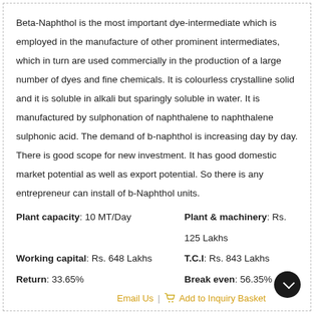Beta-Naphthol is the most important dye-intermediate which is employed in the manufacture of other prominent intermediates, which in turn are used commercially in the production of a large number of dyes and fine chemicals. It is colourless crystalline solid and it is soluble in alkali but sparingly soluble in water. It is manufactured by sulphonation of naphthalene to naphthalene sulphonic acid. The demand of b-naphthol is increasing day by day. There is good scope for new investment. It has good domestic market potential as well as export potential. So there is any entrepreneur can install of b-Naphthol units.
Plant capacity: 10 MT/Day   Plant & machinery: Rs. 125 Lakhs
Working capital: Rs. 648 Lakhs   T.C.I: Rs. 843 Lakhs
Return: 33.65%   Break even: 56.35%
Email Us | Add to Inquiry Basket